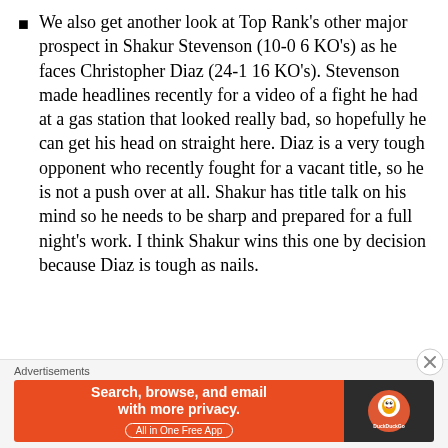We also get another look at Top Rank's other major prospect in Shakur Stevenson (10-0 6 KO's) as he faces Christopher Diaz (24-1 16 KO's). Stevenson made headlines recently for a video of a fight he had at a gas station that looked really bad, so hopefully he can get his head on straight here. Diaz is a very tough opponent who recently fought for a vacant title, so he is not a push over at all. Shakur has title talk on his mind so he needs to be sharp and prepared for a full night's work. I think Shakur wins this one by decision because Diaz is tough as nails.
Advertisements
[Figure (other): DuckDuckGo advertisement banner with orange left panel reading 'Search, browse, and email with more privacy. All in One Free App' and dark right panel with DuckDuckGo logo.]